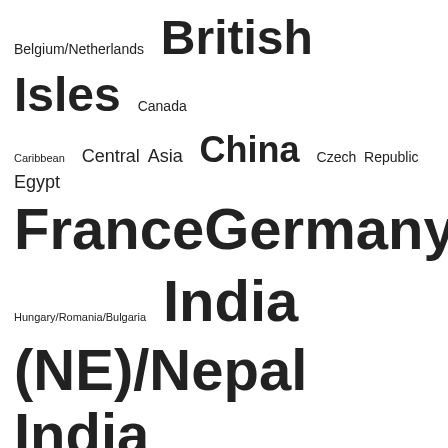[Figure (infographic): Tag cloud listing geographic regions with font sizes proportional to frequency or importance. Terms include: Belgium/Netherlands, British Isles, Canada, Caribbean, Central Asia, China, Czech Republic, Egypt, France, Germany, Greece, Hungary/Romania/Bulgaria, India (NE)/Nepal, India (NW), India (South)/Sri Lanka, Iran/Iraq, Israel, Italy/Malta, Japan/Korea, Latin America, Mexico, Palestine, Poland/Lithuania, Russia, Scandinavia, Southeast Asia, Spain/Portugal, Syria/Jordan/Lebanon, Turkey/Cyprus, Ukraine, US-California, US-Mid Atlantic, US-...]